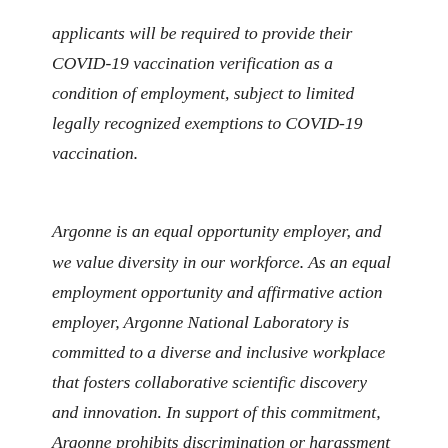applicants will be required to provide their COVID-19 vaccination verification as a condition of employment, subject to limited legally recognized exemptions to COVID-19 vaccination.
Argonne is an equal opportunity employer, and we value diversity in our workforce. As an equal employment opportunity and affirmative action employer, Argonne National Laboratory is committed to a diverse and inclusive workplace that fosters collaborative scientific discovery and innovation. In support of this commitment, Argonne prohibits discrimination or harassment based on an individual's age, ancestry, citizenship status, color,